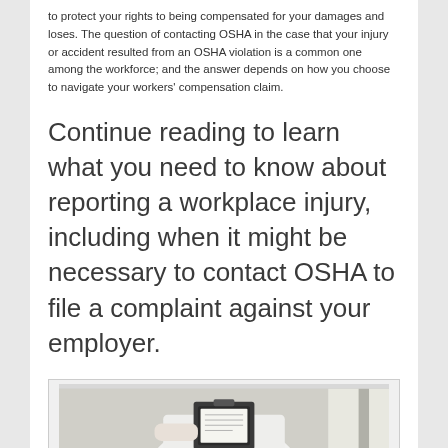to protect your rights to being compensated for your damages and loses. The question of contacting OSHA in the case that your injury or accident resulted from an OSHA violation is a common one among the workforce; and the answer depends on how you choose to navigate your workers' compensation claim.
Continue reading to learn what you need to know about reporting a workplace injury, including when it might be necessary to contact OSHA to file a complaint against your employer.
[Figure (photo): A person in a white shirt holding or reviewing a document or clipboard, partially visible from the torso down.]